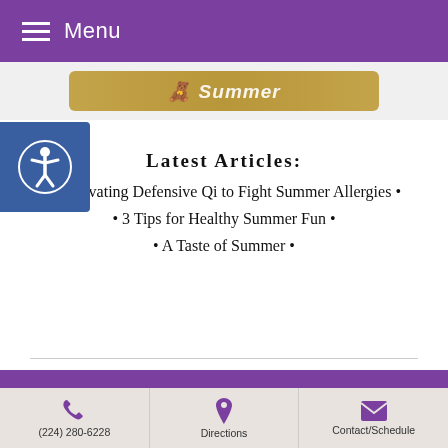Menu
[Figure (logo): Acupuncture website logo with gold banner partially visible]
Latest Articles:
• Cultivating Defensive Qi to Fight Summer Allergies •
• 3 Tips for Healthy Summer Fun •
• A Taste of Summer •
Acupuncture Websites designed by AcuPerfect Websites © 2022. All Rights Reserved. Terms of Use.
(224) 280-6228   Directions   Contact/Schedule